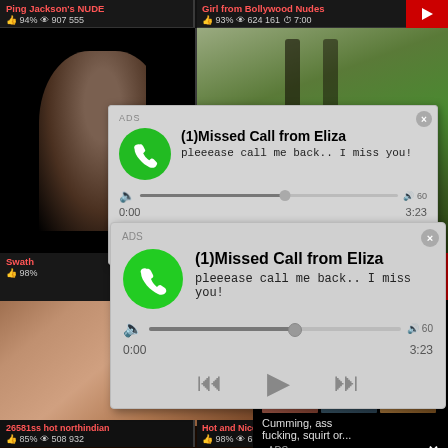Ping Jackson's NUDE
94%  907 555
Girl from Bollywood Nudes
93%  624 161  7:00
[Figure (screenshot): Video thumbnail showing close-up face, dark background]
[Figure (screenshot): Video thumbnail showing outdoor scene with people]
[Figure (screenshot): Ad overlay: audio player with green phone icon, title (1)Missed Call from Eliza, pleeease call me back.. I miss you!, progress bar, playback controls]
Swath
98%
[Figure (screenshot): Bottom left video thumbnail: adult content]
[Figure (screenshot): Bottom right ad overlay: WHAT DO YOU WANT? WATCH button, Online indicator, thumbnail images, text: Cumming, ass fucking, squirt or... ADS]
26581ss hot northindian
85%  508 932
Hot and Nice figure
98%  618 255